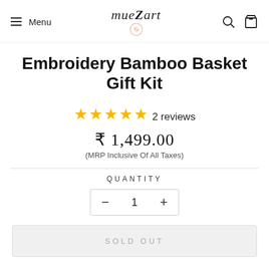Menu | mueZart | [search icon] [cart icon]
Embroidery Bamboo Basket Gift Kit
★★★★★ 2 reviews
₹ 1,499.00
(MRP Inclusive Of All Taxes)
QUANTITY
− 1 +
SOLD OUT